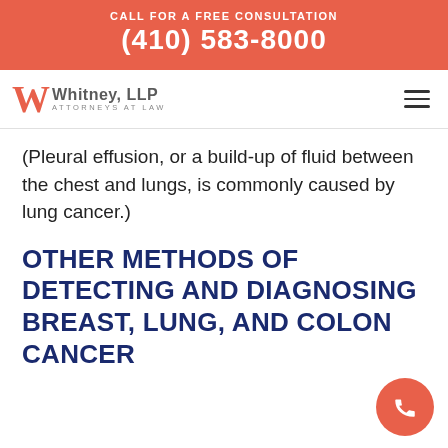CALL FOR A FREE CONSULTATION
(410) 583-8000
[Figure (logo): Whitney, LLP Attorneys at Law logo with stylized W in orange/red and firm name in gray]
(Pleural effusion, or a build-up of fluid between the chest and lungs, is commonly caused by lung cancer.)
OTHER METHODS OF DETECTING AND DIAGNOSING BREAST, LUNG, AND COLON CANCER